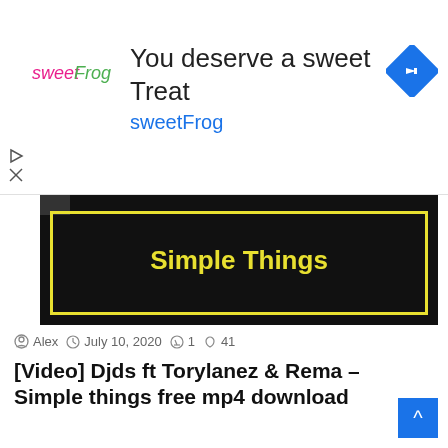[Figure (screenshot): SweetFrog advertisement banner with logo, headline 'You deserve a sweet Treat', brand name 'sweetFrog', and a blue navigation arrow icon]
[Figure (screenshot): Video thumbnail with black background, yellow bold text 'Simple Things' centered, yellow border rectangle, and a dark tab in top-left corner]
Alex  July 10, 2020  1  41
[Video] Djds ft Torylanez & Rema – Simple things free mp4 download
Djds ft torylanez & Rema – Simple things free download Outstanding American production and DJ duo Jerome LOL and Samo…
Read More »
Video Mp3 Sarkodie ft E 40 CEO Flow Free download